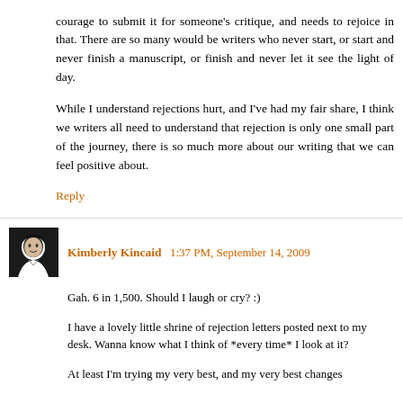courage to submit it for someone's critique, and needs to rejoice in that. There are so many would be writers who never start, or start and never finish a manuscript, or finish and never let it see the light of day.
While I understand rejections hurt, and I've had my fair share, I think we writers all need to understand that rejection is only one small part of the journey, there is so much more about our writing that we can feel positive about.
Reply
Kimberly Kincaid 1:37 PM, September 14, 2009
Gah. 6 in 1,500. Should I laugh or cry? :)
I have a lovely little shrine of rejection letters posted next to my desk. Wanna know what I think of *every time* I look at it?
At least I'm trying my very best, and my very best changes